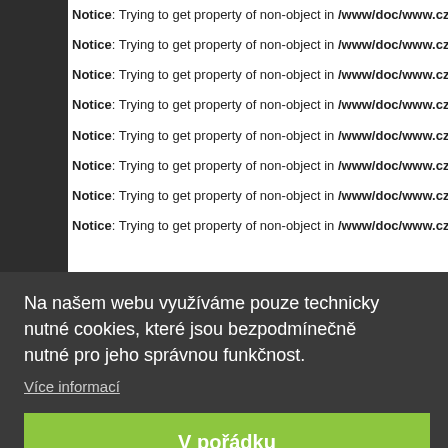Notice: Trying to get property of non-object in /www/doc/www.czech-g
Notice: Trying to get property of non-object in /www/doc/www.czech-g
Notice: Trying to get property of non-object in /www/doc/www.czech-g
Notice: Trying to get property of non-object in /www/doc/www.czech-g
Notice: Trying to get property of non-object in /www/doc/www.czech-g
Notice: Trying to get property of non-object in /www/doc/www.czech-g
Notice: Trying to get property of non-object in /www/doc/www.czech-g
Notice: Trying to get property of non-object in /www/doc/www.czech-g
[Figure (screenshot): Cookie consent overlay with dark background. Text: 'Na našem webu využíváme pouze technicky nutné cookies, které jsou bezpodmínečně nutné pro jeho správnou funkčnost.' Link: 'Více informací'. Button: 'V pořádku' (green).]
Notice: Trying to get property of non-object in /www/doc/www.czech-g